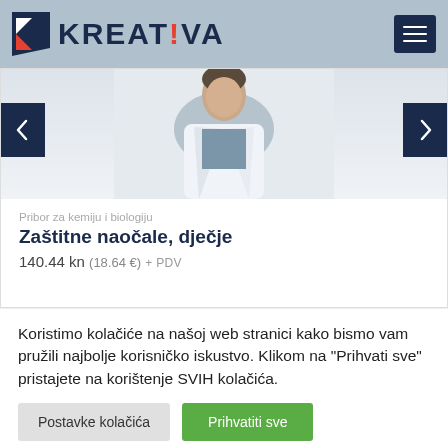[Figure (logo): KREATIVA logo with geometric arrow/triangle icon in dark navy and orange, on blue-grey header background]
[Figure (photo): Person in white lab coat, cropped at chest/torso level, on light grey background]
Pribor za kemiju i biologiju
Zaštitne naočale, dječje
140.44 kn (18.64 €) + PDV
Koristimo kolačiće na našoj web stranici kako bismo vam pružili najbolje korisničko iskustvo. Klikom na "Prihvati sve" pristajete na korištenje SVIH kolačića.
Postavke kolačića
Prihvatiti sve